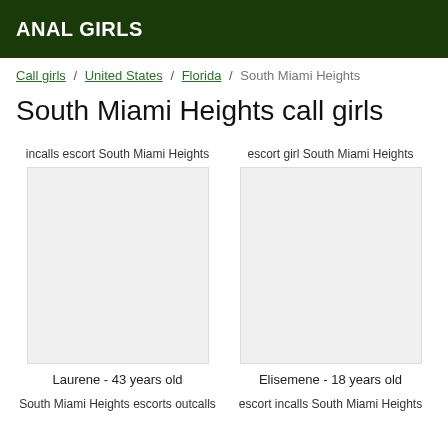ANAL GIRLS
Call girls / United States / Florida / South Miami Heights
South Miami Heights call girls
incalls escort South Miami Heights
escort girl South Miami Heights
Laurene - 43 years old
Elisemene - 18 years old
South Miami Heights escorts outcalls
escort incalls South Miami Heights